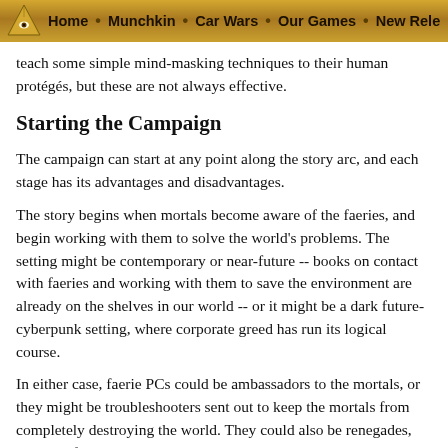Home • Munchkin • Car Wars • Our Games • New Rele
sympathies lie with the remainder. They are also to teach some simple mind-masking techniques to their human protégés, but these are not always effective.
Starting the Campaign
The campaign can start at any point along the story arc, and each stage has its advantages and disadvantages.
The story begins when mortals become aware of the faeries, and begin working with them to solve the world's problems. The setting might be contemporary or near-future -- books on contact with faeries and working with them to save the environment are already on the shelves in our world -- or it might be a dark future-cyberpunk setting, where corporate greed has run its logical course.
In either case, faerie PCs could be ambassadors to the mortals, or they might be troubleshooters sent out to keep the mortals from completely destroying the world. They could also be renegades, ignoring faerie prohibitions on contact with mortals because they see